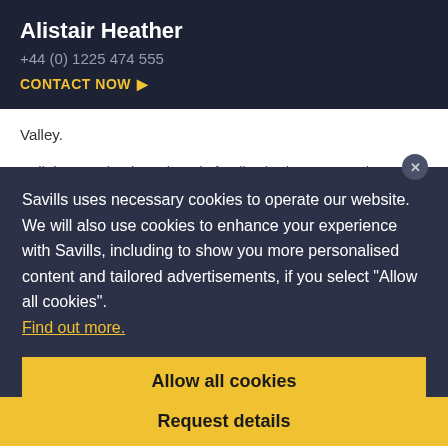Alistair Heather
+44 (0) 1225 474 555
CONTACT NOW ▶
Valley.
Built in 1838 by the Edwards family, the house... a slate ... the rooms ... hall and ... details, ... sash windows and ornate ceiling mouldings.
Savills uses necessary cookies to operate our website. We will also use cookies to enhance your experience with Savills, including to show you more personalised content and tailored advertisements, if you select "Allow all cookies". Find out more.
Allow all cookies
The proportions of the principal rooms are wonderful, and of particular... wing room with its bay window, which is complemented by the dining room, sitting room and family room. In addition is a comfortable kitchen/breakfast room with adjoining
Request details
western garden